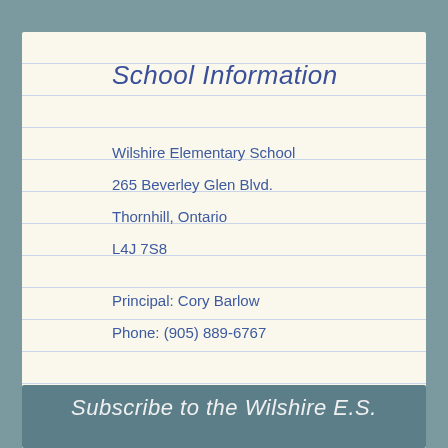School Information
Wilshire Elementary School
265 Beverley Glen Blvd.
Thornhill, Ontario
L4J 7S8
Principal: Cory Barlow
Phone: (905) 889-6767
Subscribe to the Wilshire E.S.